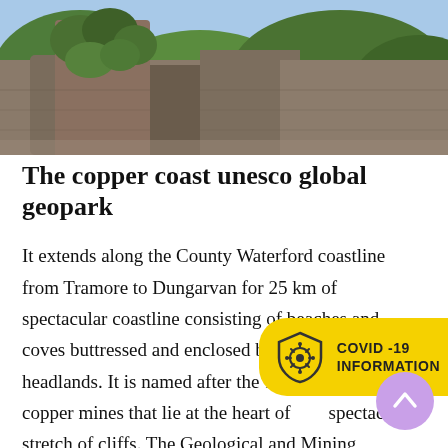[Figure (photo): Photograph of a ruined stone tower or castle structure covered with ivy and vegetation, with trees and blue sky in the background. The image is cropped showing the upper portion of the ruin.]
The copper coast unesco global geopark
It extends along the County Waterford coastline from Tramore to Dungarvan for 25 km of spectacular coastline consisting of beaches and coves buttressed and enclosed by headlands. It is named after the 19 copper mines that lie at the heart of a spectacular stretch of cliffs. The Geological and Mining Heritage Exhibition at the Visitor Centre is suitable for all ages. Lovely café also located in this beautiful restored church. Refer to the